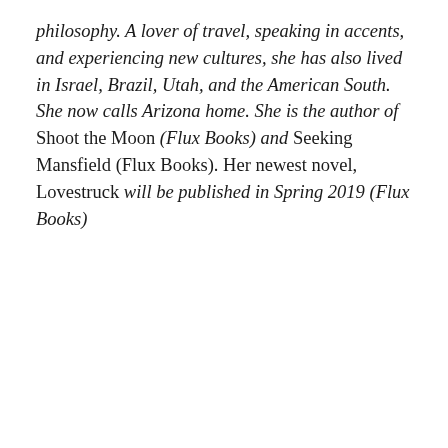philosophy. A lover of travel, speaking in accents, and experiencing new cultures, she has also lived in Israel, Brazil, Utah, and the American South. She now calls Arizona home. She is the author of Shoot the Moon (Flux Books) and Seeking Mansfield (Flux Books). Her newest novel, Lovestruck will be published in Spring 2019 (Flux Books)